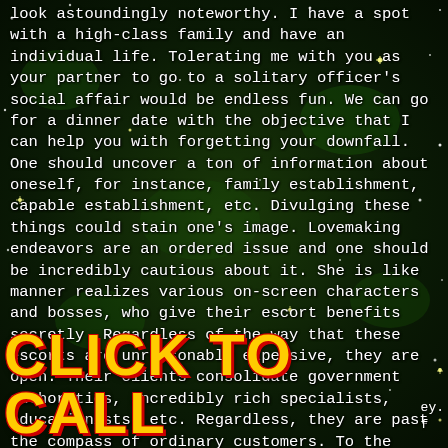look astoundingly noteworthy. I have a spot with a high-class family and have an individual life. Tolerating me with you as your partner to go to a solitary officer's social affair would be endless fun. We can go for a dinner date with the objective that I can help you with forgetting your downfall. One should uncover a ton of information about oneself, for instance, family establishment, capable establishment, etc. Divulging these things could stain one's image. Lovemaking endeavors are an ordered issue and one should be incredibly cautious about it. She is like manner realizes various on-screen characters and bosses, who give their escort benefits secretly. Regardless of the way that these escorts are unreasonably expensive, they are open. Their clients consolidate government authorities, incredibly rich specialists, educationists, etc. Regardless, they are past the compass of ordinary customers. To the degree, her inclination concerned, she has a pleasant and solid nature.
CLICK TO CALL